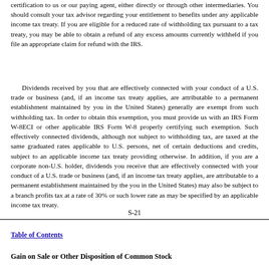certification to us or our paying agent, either directly or through other intermediaries. You should consult your tax advisor regarding your entitlement to benefits under any applicable income tax treaty. If you are eligible for a reduced rate of withholding tax pursuant to a tax treaty, you may be able to obtain a refund of any excess amounts currently withheld if you file an appropriate claim for refund with the IRS.
Dividends received by you that are effectively connected with your conduct of a U.S. trade or business (and, if an income tax treaty applies, are attributable to a permanent establishment maintained by you in the United States) generally are exempt from such withholding tax. In order to obtain this exemption, you must provide us with an IRS Form W-8ECI or other applicable IRS Form W-8 properly certifying such exemption. Such effectively connected dividends, although not subject to withholding tax, are taxed at the same graduated rates applicable to U.S. persons, net of certain deductions and credits, subject to an applicable income tax treaty providing otherwise. In addition, if you are a corporate non-U.S. holder, dividends you receive that are effectively connected with your conduct of a U.S. trade or business (and, if an income tax treaty applies, are attributable to a permanent establishment maintained by the you in the United States) may also be subject to a branch profits tax at a rate of 30% or such lower rate as may be specified by an applicable income tax treaty.
S-21
Table of Contents
Gain on Sale or Other Disposition of Common Stock